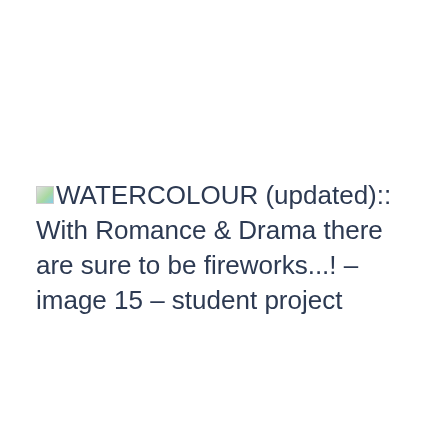[image] WATERCOLOUR (updated):: With Romance & Drama there are sure to be fireworks...! - image 15 - student project